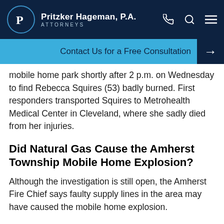Pritzker Hageman, P.A. ATTORNEYS
Contact Us for a Free Consultation →
mobile home park shortly after 2 p.m. on Wednesday to find Rebecca Squires (53) badly burned. First responders transported Squires to Metrohealth Medical Center in Cleveland, where she sadly died from her injuries.
Did Natural Gas Cause the Amherst Township Mobile Home Explosion?
Although the investigation is still open, the Amherst Fire Chief says faulty supply lines in the area may have caused the mobile home explosion.